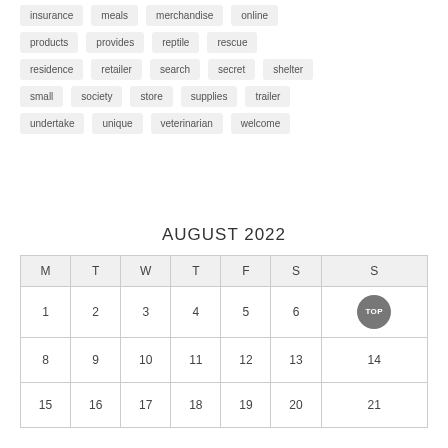insurance
meals
merchandise
online
products
provides
reptile
rescue
residence
retailer
search
secret
shelter
small
society
store
supplies
trailer
undertake
unique
veterinarian
welcome
AUGUST 2022
| M | T | W | T | F | S | S |
| --- | --- | --- | --- | --- | --- | --- |
| 1 | 2 | 3 | 4 | 5 | 6 | 7 |
| 8 | 9 | 10 | 11 | 12 | 13 | 14 |
| 15 | 16 | 17 | 18 | 19 | 20 | 21 |